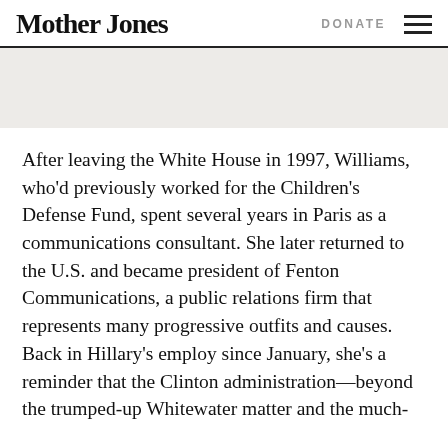Mother Jones | DONATE
[Figure (other): Gray banner advertisement area]
After leaving the White House in 1997, Williams, who'd previously worked for the Children's Defense Fund, spent several years in Paris as a communications consultant. She later returned to the U.S. and became president of Fenton Communications, a public relations firm that represents many progressive outfits and causes. Back in Hillary's employ since January, she's a reminder that the Clinton administration—beyond the trumped-up Whitewater matter and the much-